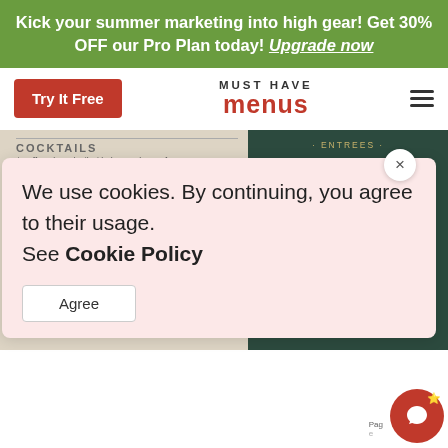Kick your summer marketing into high gear! Get 30% OFF our Pro Plan today! Upgrade now
Try It Free
MUST HAVE menus
[Figure (screenshot): Two restaurant menu panels side by side. Left panel shows a light wood-texture background menu with sections: COCKTAILS ($2 off each cocktail with the purchase of an entree), APPETIZERS ($5 appetizers - Potato Skins, Hummus Plate, Ricotta & Kale Salad, Coconut Shrimp), WINGS (50 cent wings. Choose mild, medium, or...). Right panel shows a dark green menu with ENTREES section listing: Rosemary and Garlic stuffed Boneless Leg of Lamb with Potato Casserole, Spinach stuffed Chicken Breast with Mozzarella and Tomato Basil Sauce, Pan Roasted Halibut with White Wine Mushroom Sauce, Rigatoni with Tomato, Olives, Feta, Basil, ...with Cream Sauce, ...Cake, ...Pie, ...eesecake]
We use cookies. By continuing, you agree to their usage. See Cookie Policy
Agree